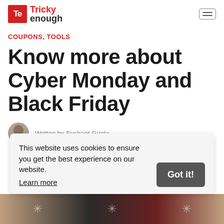Tricky Enough
COUPONS, TOOLS
Know more about Cyber Monday and Black Friday
Written by Sushant Gupta
This website uses cookies to ensure you get the best experience on our website. Learn more
[Figure (photo): Bottom banner strip with stylized symbols on dark and red background]